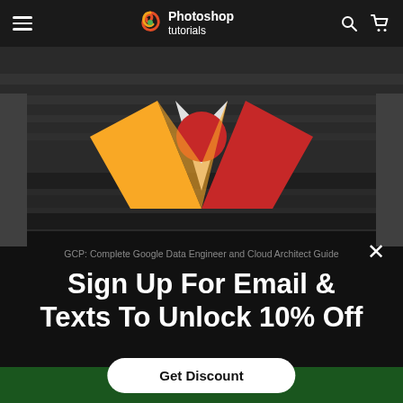Photoshop tutorials
[Figure (illustration): Dark background with a stylized V-shaped logo in yellow, red, and white/grey colors, resembling the Google Cloud or a certification badge icon]
GCP: Complete Google Data Engineer and Cloud Architect Guide
Sign Up For Email & Texts To Unlock 10% Off
Get Discount
ADD TO CART ($29)